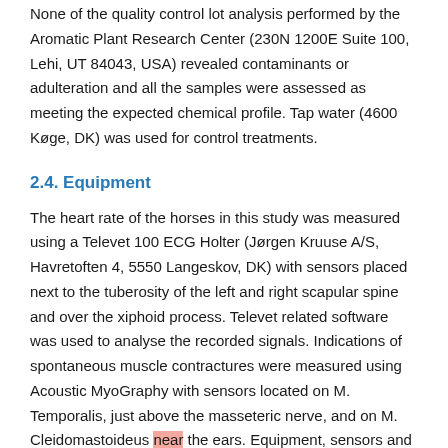None of the quality control lot analysis performed by the Aromatic Plant Research Center (230N 1200E Suite 100, Lehi, UT 84043, USA) revealed contaminants or adulteration and all the samples were assessed as meeting the expected chemical profile. Tap water (4600 Køge, DK) was used for control treatments.
2.4. Equipment
The heart rate of the horses in this study was measured using a Televet 100 ECG Holter (Jørgen Kruuse A/S, Havretoften 4, 5550 Langeskov, DK) with sensors placed next to the tuberosity of the left and right scapular spine and over the xiphoid process. Televet related software was used to analyse the recorded signals. Indications of spontaneous muscle contractures were measured using Acoustic MyoGraphy with sensors located on M. Temporalis, just above the masseteric nerve, and on M. Cleidomastoideus near the ears. Equipment, sensors and related software were provided by...